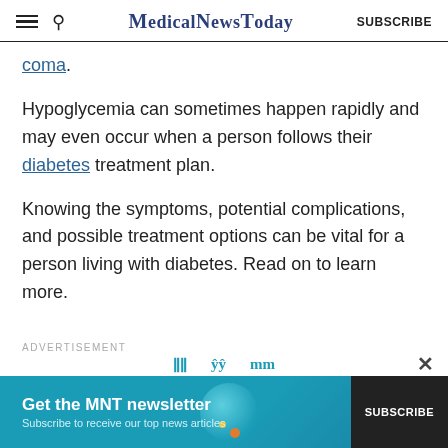MedicalNewsToday | SUBSCRIBE
coma.
Hypoglycemia can sometimes happen rapidly and may even occur when a person follows their diabetes treatment plan.
Knowing the symptoms, potential complications, and possible treatment options can be vital for a person living with diabetes. Read on to learn more.
[Figure (other): Advertisement banner for MNT newsletter with subscribe button]
ADVERTISEMENT